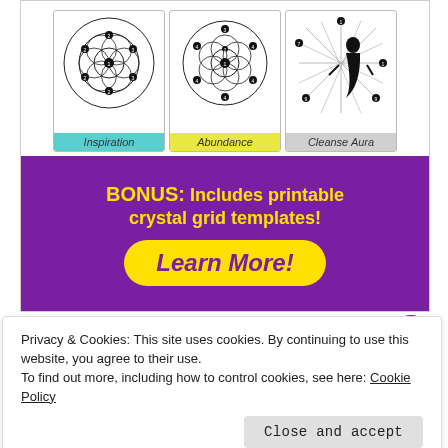[Figure (illustration): Advertisement image showing three crystal grid template cards (Inspiration, Abundance, Cleanse Aura) with sacred geometry patterns on a white background, followed by a purple banner with yellow text: 'BONUS: Includes printable crystal grid templates!' and a yellow 'Learn More!' button.]
Privacy & Cookies: This site uses cookies. By continuing to use this website, you agree to their use.
To find out more, including how to control cookies, see here: Cookie Policy
Close and accept